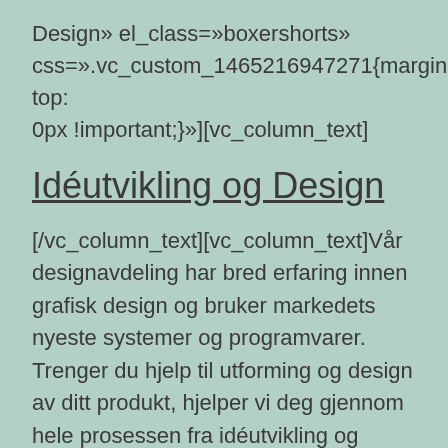Design» el_class=»boxershorts» css=».vc_custom_1465216947271{margin-top: 0px !important;}»][vc_column_text]
Idéutvikling og Design
[/vc_column_text][vc_column_text]Vår designavdeling har bred erfaring innen grafisk design og bruker markedets nyeste systemer og programvarer. Trenger du hjelp til utforming og design av ditt produkt, hjelper vi deg gjennom hele prosessen fra idéutvikling og design til produkjon og distribusjon. [/vc_column_text][/vc_column_inner]